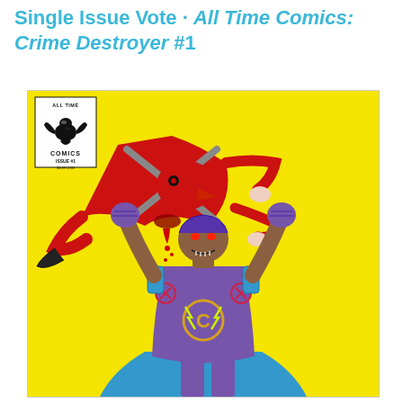Single Issue Vote - All Time Comics: Crime Destroyer #1
[Figure (illustration): Cover of All Time Comics: Crime Destroyer #1. Yellow background. A muscular superhero (Crime Destroyer) in purple armor with a 'C' emblem on his chest, blue cape, and glowing red eyes holds aloft a red-costumed villain with a bird-like head. The villain is limp, bleeding, with arms and legs splayed. The All Time Comics logo with an eagle emblem appears in the top-left corner. Issue #1, $4.99 USD.]